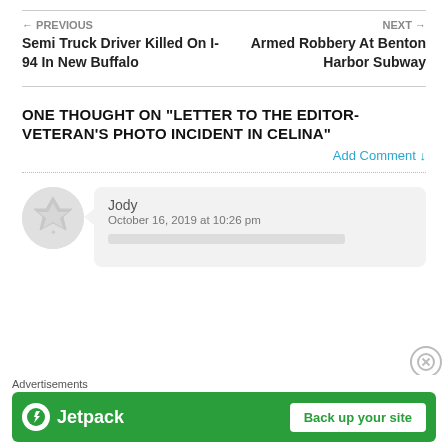← PREVIOUS Semi Truck Driver Killed On I-94 In New Buffalo
NEXT → Armed Robbery At Benton Harbor Subway
ONE THOUGHT ON "LETTER TO THE EDITOR-VETERAN'S PHOTO INCIDENT IN CELINA"
Add Comment ↓
Jody
October 16, 2019 at 10:26 pm
Advertisements
[Figure (screenshot): Jetpack advertisement banner with 'Back up your site' button on green background]